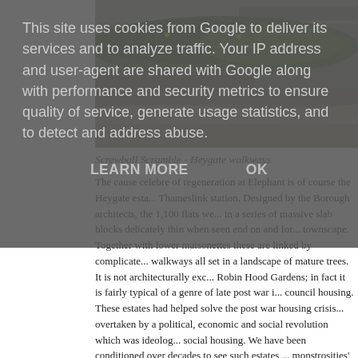This site uses cookies from Google to deliver its services and to analyze traffic. Your IP address and user-agent are shared with Google along with performance and security metrics to ensure quality of service, generate usage statistics, and to detect and address abuse.
LEARN MORE   OK
[Figure (photo): Photograph of Heygate estate walkways showing curved concrete retaining wall with greenery and paved pathway (Screwball Scramble - Heygate walkways)]
Screwball Scramble - Heygate walkways
The cause celebre of regeneration at Elephant is of course the Heygate esta... Thameslink station. Designed by the Borough architects, the 1,100 flats we... in a series of massive slab blocks delicately thin when seen end on and for... townscape. Together with lower maisonettes these are linked by complicate... walkways all set in a landscape of mature trees. It is not architecturally exc... Robin Hood Gardens; in fact it is fairly typical of a genre of late post war i... council housing. These estates had helped solve the post war housing crisis... overtaken by a political, economic and social revolution which was ideolog... social housing. We have been conditioned over decades to see such estates ... monstrosities' and 'crime ridden ghettos' which need to be swept away.